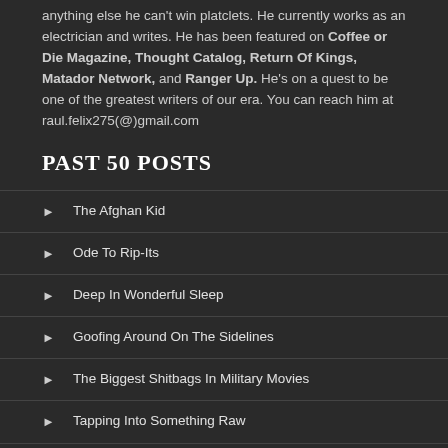anything else he can't win platclets. He currently works as an electrician and writes. He has been featured on Coffee or Die Magazine, Thought Catalog, Return Of Kings, Matador Network, and Ranger Up. He's on a quest to be one of the greatest writers of our era. You can reach him at raul.felix275(@)gmail.com
PAST 50 POSTS
The Afghan Kid
Ode To Rip-Its
Deep In Wonderful Sleep
Goofing Around On The Sidelines
The Biggest Shitbags In Military Movies
Tapping Into Something Raw
Specialist 4 Robert Patterson Bum-Rushed 5 Machine Gun Nests In Vietnam To Earn The Medal Of Honor